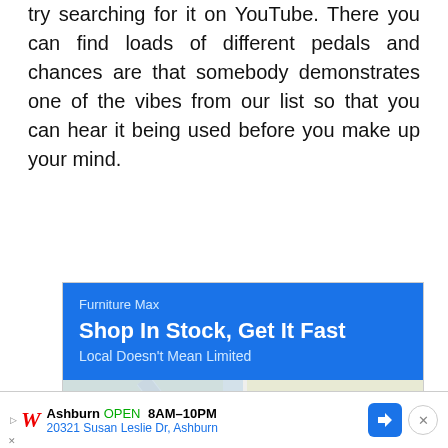try searching for it on YouTube. There you can find loads of different pedals and chances are that somebody demonstrates one of the vibes from our list so that you can hear it being used before you make up your mind.
[Figure (screenshot): Google Maps advertisement for Furniture Max with blue header showing 'Shop In Stock, Get It Fast / Local Doesn't Mean Limited', a map showing McNair area near Sunrise Valley Dr, Store info and Directions buttons, and a Walgreens bar at the bottom showing Ashburn location open 8AM-10PM at 20321 Susan Leslie Dr.]